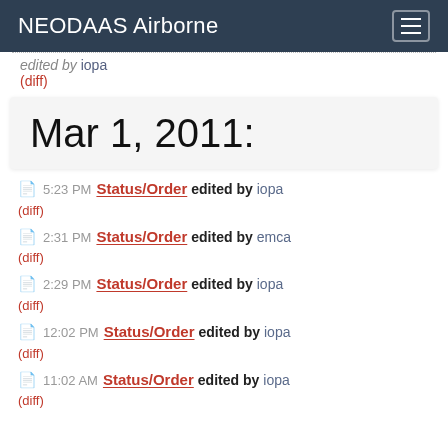NEODAAS Airborne
edited by [user] (diff)
Mar 1, 2011:
5:23 PM Status/Order edited by iopa (diff)
2:31 PM Status/Order edited by emca (diff)
2:29 PM Status/Order edited by iopa (diff)
12:02 PM Status/Order edited by iopa (diff)
11:02 AM Status/Order edited by iopa (diff)